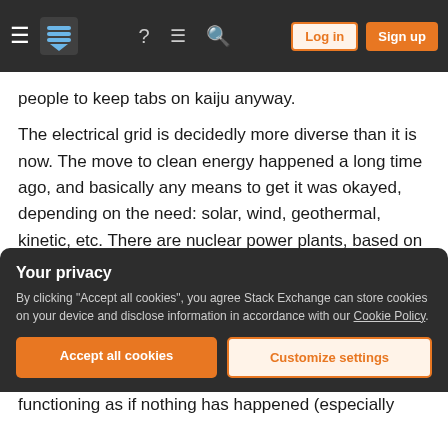Stack Exchange navigation bar with hamburger menu, logo, help, chat, search icons, Log in and Sign up buttons
people to keep tabs on kaiju anyway.
The electrical grid is decidedly more diverse than it is now. The move to clean energy happened a long time ago, and basically any means to get it was okayed, depending on the need: solar, wind, geothermal, kinetic, etc. There are nuclear power plants, based on new improved tech (vaguely tokamak design), but there might be contention over it, since there are some kaiju in this universe that are drawn to nuclear energy. Although with these
Your privacy
By clicking "Accept all cookies", you agree Stack Exchange can store cookies on your device and disclose information in accordance with our Cookie Policy.
Accept all cookies
Customize settings
functioning as if nothing has happened (especially